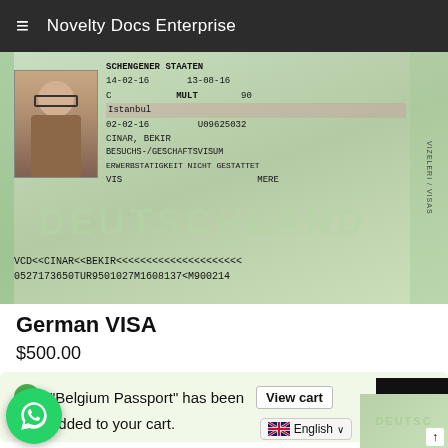Novelty Docs Enterprise
[Figure (photo): A German Schengen visa sticker showing: SCHENGENER STAATEN, dates 14-02-16 to 13-08-16, type C, MULT, 90 days, Istanbul, 02-02-16, U09625032, CINAR BEKIR, BESUCHS-/GESCHAFTSVISUM, ERWERBSTATIGKEIT NICHT GESTATTET, VIS, MERE. MRZ lines: VCD<<CINAR<<BEKIR<<<<<<<<<<<<<<<<<<< and 0527173650TUR9501027M1608137<M900214. Watermark: DEUTSCHLAND]
German VISA
$500.00
“Belgium Passport” has been added to your cart.
View cart